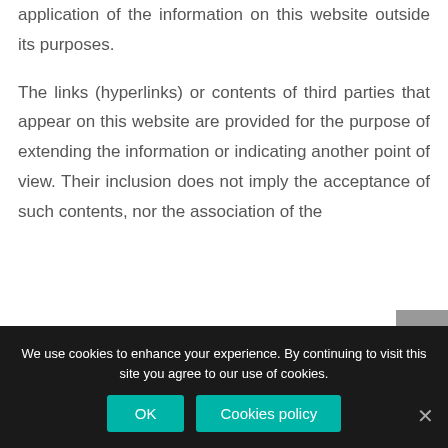application of the information on this website outside its purposes.
The links (hyperlinks) or contents of third parties that appear on this website are provided for the purpose of extending the information or indicating another point of view. Their inclusion does not imply the acceptance of such contents, nor the association of the
We use cookies to enhance your experience. By continuing to visit this site you agree to our use of cookies.